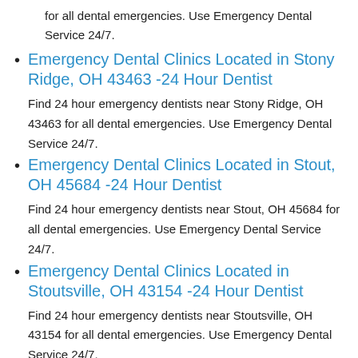for all dental emergencies. Use Emergency Dental Service 24/7.
Emergency Dental Clinics Located in Stony Ridge, OH 43463 -24 Hour Dentist
Find 24 hour emergency dentists near Stony Ridge, OH 43463 for all dental emergencies. Use Emergency Dental Service 24/7.
Emergency Dental Clinics Located in Stout, OH 45684 -24 Hour Dentist
Find 24 hour emergency dentists near Stout, OH 45684 for all dental emergencies. Use Emergency Dental Service 24/7.
Emergency Dental Clinics Located in Stoutsville, OH 43154 -24 Hour Dentist
Find 24 hour emergency dentists near Stoutsville, OH 43154 for all dental emergencies. Use Emergency Dental Service 24/7.